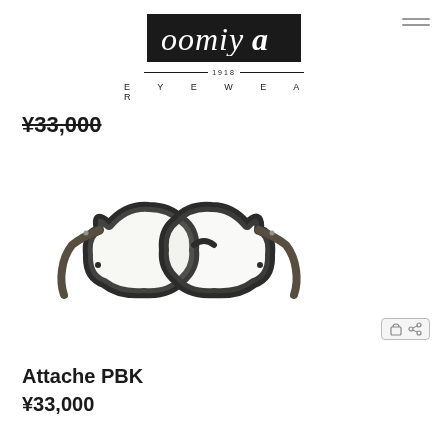[Figure (logo): oomiya eyewear logo — black box with stylized italic text 'oomiya', horizontal lines, '1918' text, and 'E Y E W E A R' spaced lettering below]
¥33,000
[Figure (photo): Black round acetate eyeglasses frames (Attache PBK) with visible temples, photographed on white background]
Attache PBK
¥33,000